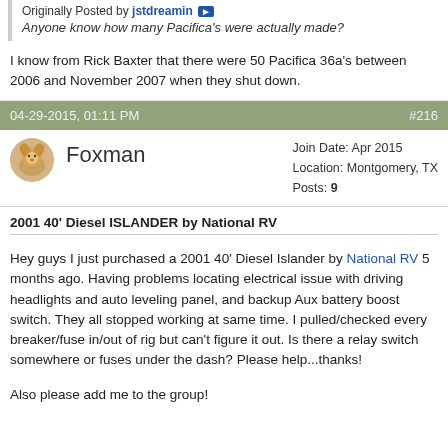Originally Posted by jstdreamin
Anyone know how many Pacifica's were actually made?
I know from Rick Baxter that there were 50 Pacifica 36a's between 2006 and November 2007 when they shut down.
04-29-2015, 01:11 PM   #216
Foxman
Join Date: Apr 2015
Location: Montgomery, TX
Posts: 9
2001 40' Diesel ISLANDER by National RV
Hey guys I just purchased a 2001 40' Diesel Islander by National RV 5 months ago. Having problems locating electrical issue with driving headlights and auto leveling panel, and backup Aux battery boost switch. They all stopped working at same time. I pulled/checked every breaker/fuse in/out of rig but can't figure it out. Is there a relay switch somewhere or fuses under the dash? Please help...thanks!

Also please add me to the group!